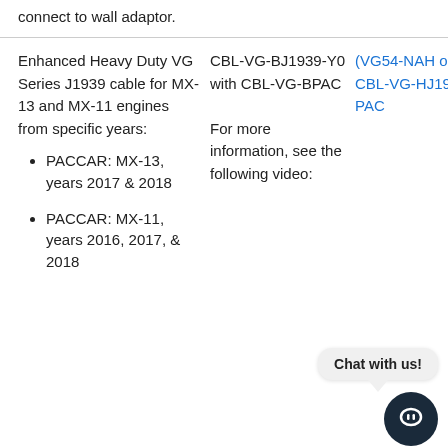connect to wall adaptor.
Enhanced Heavy Duty VG Series J1939 cable for MX-13 and MX-11 engines from specific years:
PACCAR: MX-13, years 2017 & 2018
PACCAR: MX-11, years 2016, 2017, & 2018
CBL-VG-BJ1939-Y0 with CBL-VG-BPAC

For more information, see the following video:
(VG54-NAH only) CBL-VG-HJ1939-PAC